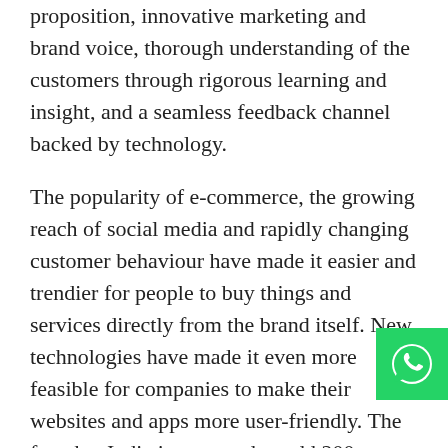proposition, innovative marketing and brand voice, thorough understanding of the customers through rigorous learning and insight, and a seamless feedback channel backed by technology.
The popularity of e-commerce, the growing reach of social media and rapidly changing customer behaviour have made it easier and trendier for people to buy things and services directly from the brand itself. New technologies have made it even more feasible for companies to make their websites and apps more user-friendly. The fact that India is expected to add 200 million online shoppers in the next four years, coupled with increasing VC funding, consolidations, all add to the growing D2C ecosystem in India.
[Figure (logo): WhatsApp icon button - green square with white WhatsApp logo]